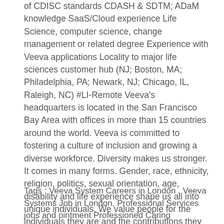of CDISC standards CDASH & SDTM; ADaM knowledge SaaS/Cloud experience Life Science, computer science, change management or related degree Experience with Veeva applications Locality to major life sciences customer hub (NJ; Boston, MA; Philadelphia, PA; Newark, NJ; Chicago, IL, Raleigh, NC) #LI-Remote Veeva's headquarters is located in the San Francisco Bay Area with offices in more than 15 countries around the world. Veeva is committed to fostering a culture of inclusion and growing a diverse workforce. Diversity makes us stronger. It comes in many forms. Gender, race, ethnicity, religion, politics, sexual orientation, age, disability and life experience shape us all into unique individuals. We value people for the individuals they are and the contributions they can bring to our teams.
Tags : Veeva System Careers in London , Veeva Systems Job in London, Professional Services jobs andointment Professioned Carian